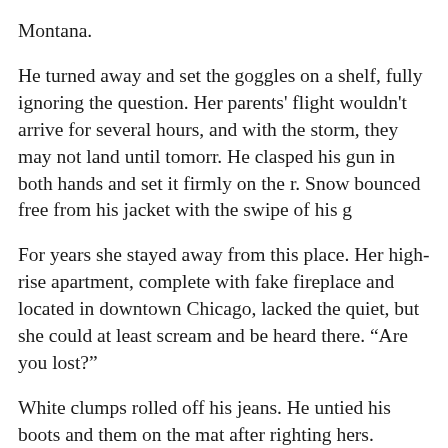Montana.
He turned away and set the goggles on a shelf, fully ignoring the question. Her parents' flight wouldn't arrive for several hours, and with the storm, they may not land until tomorrow. He clasped his gun in both hands and set it firmly on the rack. Snow bounced free from his jacket with the swipe of his g—
For years she stayed away from this place. Her high-rise apartment, complete with fake fireplace and located in downtown Chicago, lacked the quiet, but she could at least scream and be heard there. “Are you lost?”
White clumps rolled off his jeans. He untied his boots and placed them on the mat after righting hers. Bigfoot folded his arms. His weather-tanned face morphed from stoic to annoyed. “All right, miss. What are you doing in my cabin? Seems to me you’re the lost one.”
“Me?” On the off chance she’d made a mistake with the address, she reviewed the driving instructions. GPS coverage had cut out a few times, showing nothing on the grid. Any—